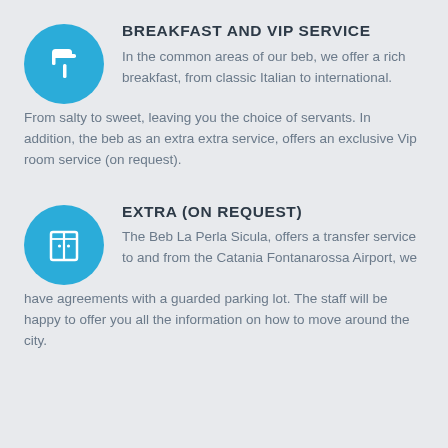[Figure (illustration): Blue circle icon with a white paint roller symbol]
BREAKFAST AND VIP SERVICE
In the common areas of our beb, we offer a rich breakfast, from classic Italian to international. From salty to sweet, leaving you the choice of servants. In addition, the beb as an extra extra service, offers an exclusive Vip room service (on request).
[Figure (illustration): Blue circle icon with a white wardrobe/cabinet symbol]
EXTRA (ON REQUEST)
The Beb La Perla Sicula, offers a transfer service to and from the Catania Fontanarossa Airport, we have agreements with a guarded parking lot. The staff will be happy to offer you all the information on how to move around the city.